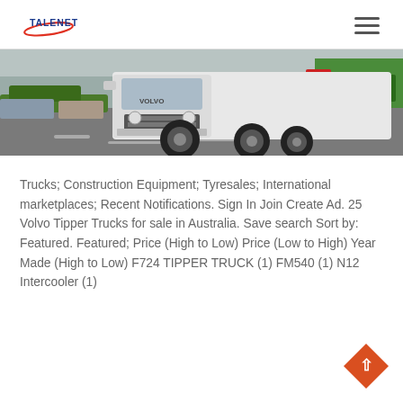TALENET
[Figure (photo): Front view of a white semi-truck/tractor unit in a parking area, with colorful trucks visible in the background]
Trucks; Construction Equipment; Tyresales; International marketplaces; Recent Notifications. Sign In Join Create Ad. 25 Volvo Tipper Trucks for sale in Australia. Save search Sort by: Featured. Featured; Price (High to Low) Price (Low to High) Year Made (High to Low) F724 TIPPER TRUCK (1) FM540 (1) N12 Intercooler (1)